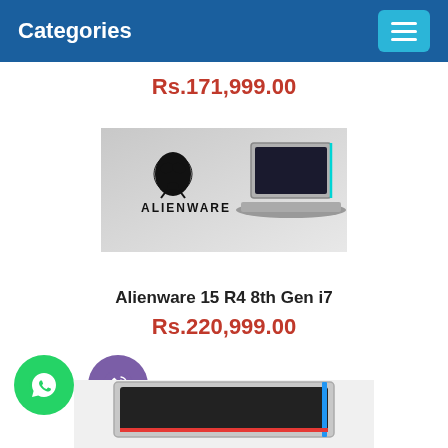Categories
Rs.171,999.00
[Figure (photo): Alienware laptop product photo showing silver/white Alienware 15 laptop with Alienware logo and alien head icon on a gray background]
Alienware 15 R4 8th Gen i7
Rs.220,999.00
[Figure (other): Contact icons: green WhatsApp circle icon and purple Viber/phone circle icon]
[Figure (photo): Partial laptop image at bottom of page, silver colored laptop]